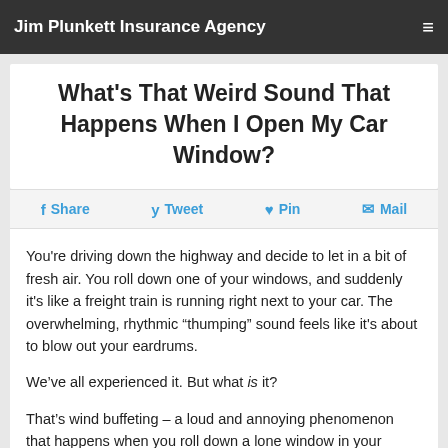Jim Plunkett Insurance Agency
What's That Weird Sound That Happens When I Open My Car Window?
Share   Tweet   Pin   Mail
You're driving down the highway and decide to let in a bit of fresh air. You roll down one of your windows, and suddenly it's like a freight train is running right next to your car. The overwhelming, rhythmic “thumping” sound feels like it's about to blow out your eardrums.
We’ve all experienced it. But what is it?
That’s wind buffeting – a loud and annoying phenomenon that happens when you roll down a lone window in your